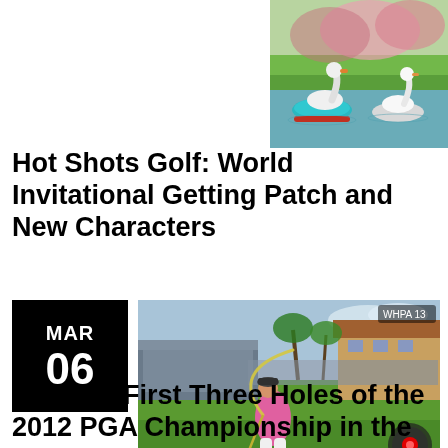[Figure (screenshot): Hot Shots Golf game screenshot showing swan-shaped paddle boats on a water hazard with green grass and pink flowers in the background]
Hot Shots Golf: World Invitational Getting Patch and New Characters
[Figure (other): Date badge showing MAR 06 in white text on black background]
[Figure (screenshot): Tiger Woods PGA Tour golf video game screenshot showing a golfer in pink shirt mid-swing on a golf course with spectators and clubhouse in background. Text in lower left reads TIGER WOODS PGA TOUR 13]
Play the First Three Holes of the 2012 PGA Championship in the Tiger